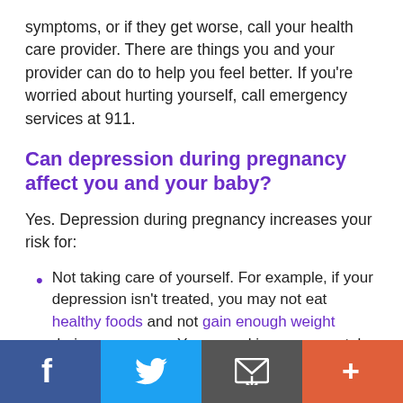symptoms, or if they get worse, call your health care provider. There are things you and your provider can do to help you feel better. If you're worried about hurting yourself, call emergency services at 911.
Can depression during pregnancy affect you and your baby?
Yes. Depression during pregnancy increases your risk for:
Not taking care of yourself. For example, if your depression isn't treated, you may not eat healthy foods and not gain enough weight during pregnancy. You may skip your prenatal care checkups or not follow instructions from your health care provider.
Social share bar: Facebook, Twitter, Email, More